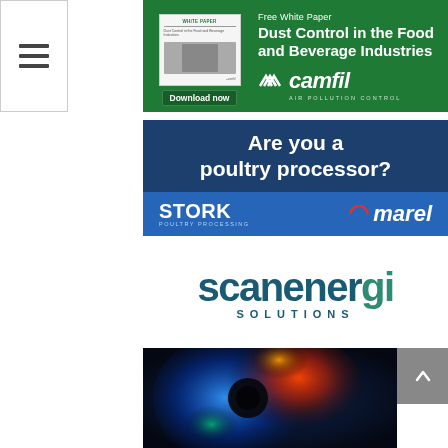[Figure (other): Hamburger menu button with three horizontal lines]
[Figure (other): Camfil advertisement banner: Free White Paper - Dust Control in the Food and Beverage Industries. Green background with white paper thumbnail, Download now button, and Camfil Air Pollution Control logo.]
[Figure (other): Stork Marel advertisement banner: Are you a poultry processor? Dark blue background with Stork Poultry Processing and Marel logos on lighter blue bottom bar.]
[Figure (logo): Scanenergi Solutions logo in dark teal/blue color]
[Figure (photo): Colorful abstract swirling light image in blue, red, orange and green tones]
[Figure (other): Grey scroll-to-top button with upward chevron arrow]